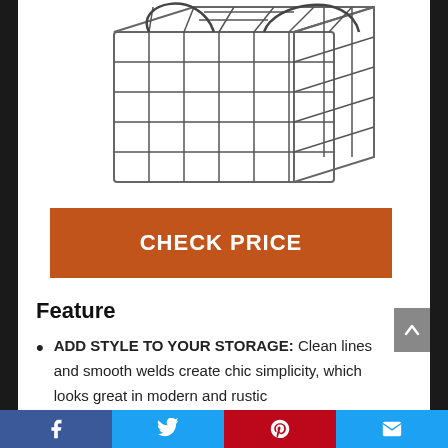[Figure (photo): Wire storage basket with handles, dark metal, viewed from above at an angle, showing grid wire construction and looped handles.]
CHECK PRICE
Feature
ADD STYLE TO YOUR STORAGE: Clean lines and smooth welds create chic simplicity, which looks great in modern and rustic